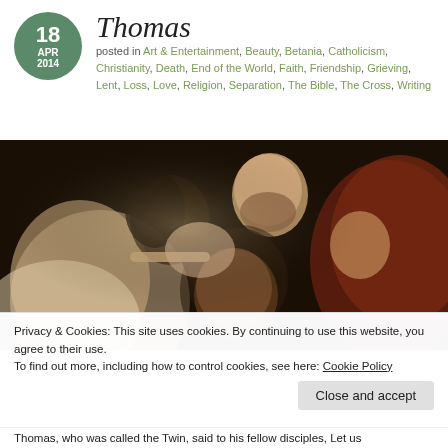Thomas
posted in Art & Entertainment, Beauty, Betania, Catholicism, Christianity, Death, End of the World, Faith, Friendship, Grieving, Lent, Loss, Love, Religion, Separation, The Bible, The Cross, Writing
[Figure (photo): Caravaggio-style painting of Thomas touching the wound of Christ, surrounded by disciples, dark chiaroscuro background]
Privacy & Cookies: This site uses cookies. By continuing to use this website, you agree to their use.
To find out more, including how to control cookies, see here: Cookie Policy
Thomas, who was called the Twin, said to his fellow disciples, Let us